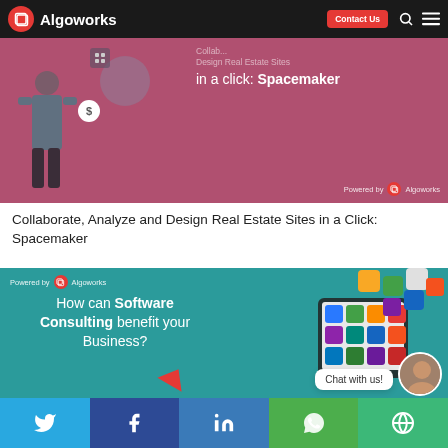Algoworks | Contact Us
[Figure (screenshot): Banner image with mauve/pink background showing a person standing with a dollar sign circle, text: Collaborate, Analyze and Design Real Estate Sites in a Click: Spacemaker. Powered by Algoworks logo at bottom right.]
Collaborate, Analyze and Design Real Estate Sites in a Click: Spacemaker
[Figure (screenshot): Teal banner with text 'How can Software Consulting benefit your Business?' with tablet and app icons on right side. Powered by Algoworks at top. Chat with us bubble overlay.]
Twitter | Facebook | LinkedIn | WhatsApp | Share